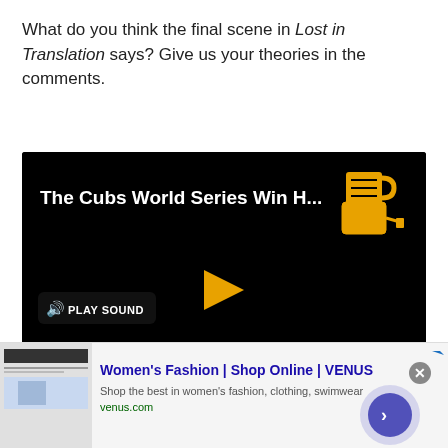What do you think the final scene in Lost in Translation says? Give us your theories in the comments.
[Figure (screenshot): Video player with black background showing title 'The Cubs World Series Win H...' with a blender icon in top right, a 'PLAY SOUND' button with speaker icon, and a yellow play triangle button in the center.]
[Figure (other): Advertisement banner for VENUS women's fashion showing website screenshot thumbnail, ad title 'Women's Fashion | Shop Online | VENUS', description 'Shop the best in women's fashion, clothing, swimwear', URL 'venus.com', and a circular navigation button on the right.]